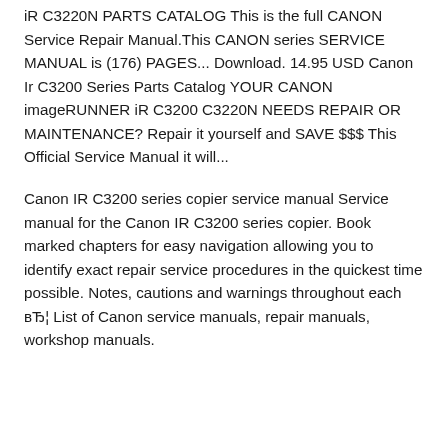iR C3220N PARTS CATALOG This is the full CANON Service Repair Manual.This CANON series SERVICE MANUAL is (176) PAGES... Download. 14.95 USD Canon Ir C3200 Series Parts Catalog YOUR CANON imageRUNNER iR C3200 C3220N NEEDS REPAIR OR MAINTENANCE? Repair it yourself and SAVE $$$ This Official Service Manual it will...
Canon IR C3200 series copier service manual Service manual for the Canon IR C3200 series copier. Book marked chapters for easy navigation allowing you to identify exact repair service procedures in the quickest time possible. Notes, cautions and warnings throughout each вЂ¦ List of Canon service manuals, repair manuals, workshop manuals.